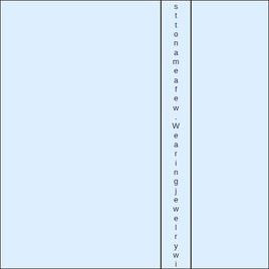[Figure (other): Two-column light blue layout. Left column is blank. Middle-right area contains vertically arranged characters spelling out 'stoname a few. Wearing jewelry wit' one character per line.]
stoname a few. Wearing jewelry wit